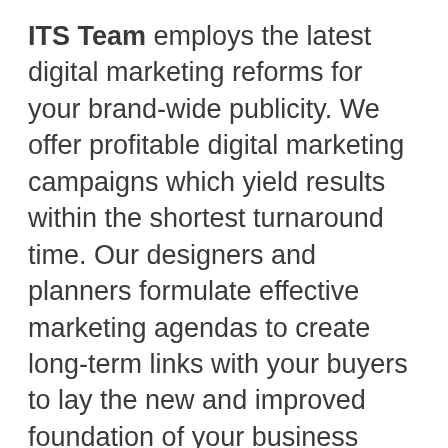ITS Team employs the latest digital marketing reforms for your brand-wide publicity. We offer profitable digital marketing campaigns which yield results within the shortest turnaround time. Our designers and planners formulate effective marketing agendas to create long-term links with your buyers to lay the new and improved foundation of your business prominently. Outsource your digital marketing campaigns to us and make the most from our marketing solutions.
Round the Clock Customer Support
We have a specialized team dedicated to catering to customer